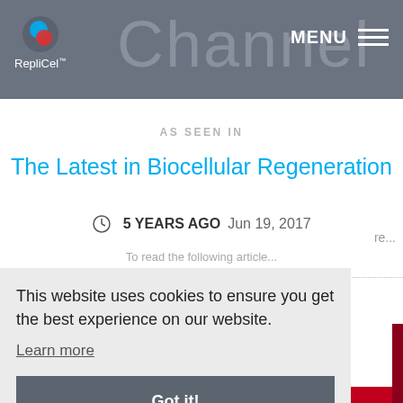[Figure (logo): RepliCel logo with navigation bar showing MENU hamburger icon and faded 'Channel' text in background]
AS SEEN IN
The Latest in Biocellular Regeneration
5 YEARS AGO  Jun 19, 2017
This website uses cookies to ensure you get the best experience on our website.
Learn more
Got it!